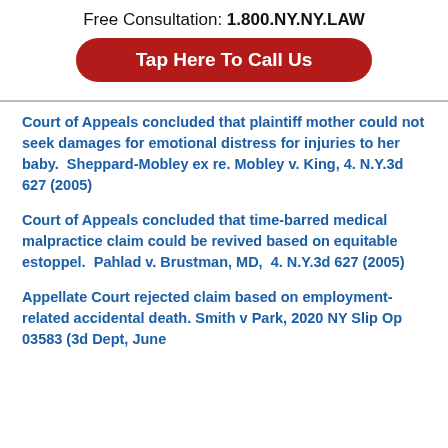Free Consultation: 1.800.NY.NY.LAW
Tap Here To Call Us
Court of Appeals concluded that plaintiff mother could not seek damages for emotional distress for injuries to her baby.  Sheppard-Mobley ex re. Mobley v. King, 4. N.Y.3d 627 (2005)
Court of Appeals concluded that time-barred medical malpractice claim could be revived based on equitable estoppel.  Pahlad v. Brustman, MD,  4. N.Y.3d 627 (2005)
Appellate Court rejected claim based on employment-related accidental death. Smith v Park, 2020 NY Slip Op 03583 (3d Dept, June